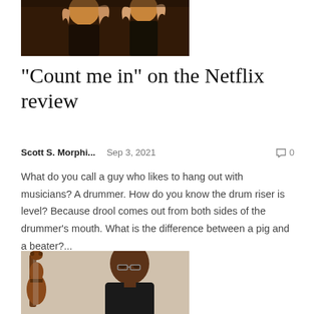[Figure (photo): Top portion of a photo showing two women in black clothing with warm amber/sepia tones, partial crop showing heads and upper bodies]
“Count me in” on the Netflix review
Scott S. Morphi...    Sep 3, 2021    💬 0
What do you call a guy who likes to hang out with musicians? A drummer. How do you know the drum riser is level? Because drool comes out from both sides of the drummer's mouth. What is the difference between a pig and a beater?...
[Figure (photo): A bald man wearing glasses in a dark shirt holding a large double bass/upright bass instrument, standing against a light background]